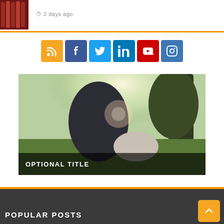[Figure (photo): Thumbnail image of red cans/cylinders]
2 days ago
[Figure (infographic): Social media icon buttons: RSS (orange), Facebook (blue), Twitter (light blue), LinkedIn (dark blue), YouTube (red), Instagram (blue)]
[Figure (photo): Outdoor photo of a person sitting on grass with a baby, trees and sunlight in background. Overlay text reads OPTIONAL TITLE]
POPULAR POSTS